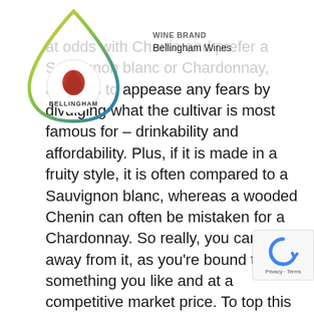[Figure (logo): Bellingham Wines logo — teardrop/droplet shape outline in gradient yellow-green-blue, with a circular red wine-drop emblem and 'Bellingham' text inside]
WINE BRAND
Bellingham Wines
at odds with Chenin and prefer a Sauvignon blanc or Chardonnay, allow us to appease any fears by divulging what the cultivar is most famous for – drinkability and affordability. Plus, if it is made in a fruity style, it is often compared to a Sauvignon blanc, whereas a wooded Chenin can often be mistaken for a Chardonnay. So really, you can't shy away from it, as you're bound to find something you like and at a competitive market price. To top this off, when produced well, Chenin blanc ages beautifully and gains in complexity.

All that stands in the way of Chenin is marketing. The varietal's reputation as a workhorse of the industry used to produce bulk wines precedes and heavyweights like Sauvignon blanc and
[Figure (logo): Google reCAPTCHA badge with blue circular arrow icon and 'Privacy · Terms' text]